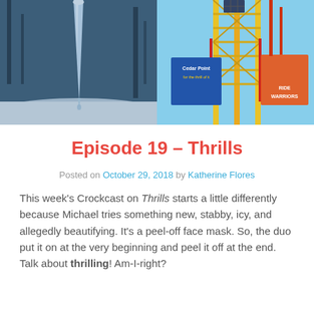[Figure (photo): Two side-by-side photos: left shows a close-up of an icicle hanging in a snowy winter forest scene with blue-toned colors; right shows a Cedar Point amusement park roller coaster tower with banners reading 'Cedar Point' and 'Ride Warriors' against a blue sky.]
Episode 19 – Thrills
Posted on October 29, 2018 by Katherine Flores
This week's Crockcast on Thrills starts a little differently because Michael tries something new, stabby, icy, and allegedly beautifying. It's a peel-off face mask. So, the duo put it on at the very beginning and peel it off at the end. Talk about thrilling! Am-I-right?